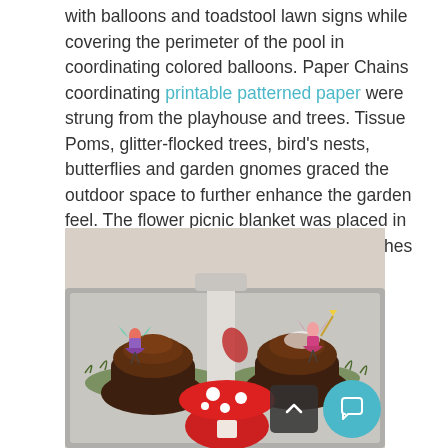with balloons and toadstool lawn signs while covering the perimeter of the pool in coordinating colored balloons. Paper Chains coordinating printable patterned paper were strung from the playhouse and trees. Tissue Poms, glitter-flocked trees, bird's nests, butterflies and garden gnomes graced the outdoor space to further enhance the garden feel. The flower picnic blanket was placed in the garden area where prepackaged lunches awaited the guests.
[Figure (photo): Photo of chocolate cupcakes topped with fairy figurines on a metal tray with green moss and a red-and-white spotted mushroom decoration. A white pedestal stands in the center. Two fairy figures with wings are placed on top of the frosted cupcakes.]